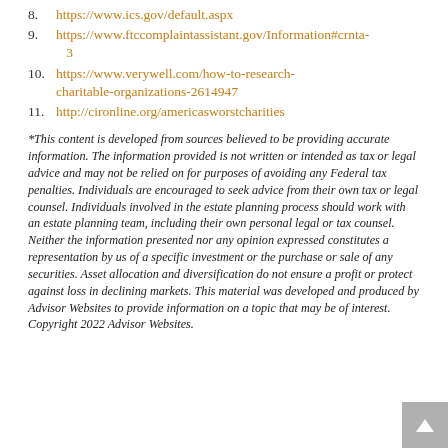8. https://www.ics.gov/default.aspx
9. https://www.ftccomplaintassistant.gov/Information#crnta-3
10. https://www.verywell.com/how-to-research-charitable-organizations-2614947
11. http://cironline.org/americasworstcharities
*This content is developed from sources believed to be providing accurate information. The information provided is not written or intended as tax or legal advice and may not be relied on for purposes of avoiding any Federal tax penalties. Individuals are encouraged to seek advice from their own tax or legal counsel. Individuals involved in the estate planning process should work with an estate planning team, including their own personal legal or tax counsel. Neither the information presented nor any opinion expressed constitutes a representation by us of a specific investment or the purchase or sale of any securities. Asset allocation and diversification do not ensure a profit or protect against loss in declining markets. This material was developed and produced by Advisor Websites to provide information on a topic that may be of interest. Copyright 2022 Advisor Websites.